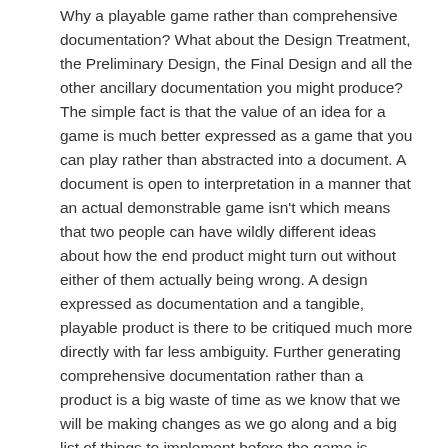Why a playable game rather than comprehensive documentation? What about the Design Treatment, the Preliminary Design, the Final Design and all the other ancillary documentation you might produce? The simple fact is that the value of an idea for a game is much better expressed as a game that you can play rather than abstracted into a document. A document is open to interpretation in a manner that an actual demonstrable game isn't which means that two people can have wildly different ideas about how the end product might turn out without either of them actually being wrong. A design expressed as documentation and a tangible, playable product is there to be critiqued much more directly with far less ambiguity. Further generating comprehensive documentation rather than a product is a big waste of time as we know that we will be making changes as we go along and a big list of things to implement before the game is 'finished' often delays critical iteration.
I re-phrased the Agile Principles as:
We follow these principles:
Our highest priority is to satisfy the customer through early and continuous delivery of a quality game experience. This provides us with the best and most